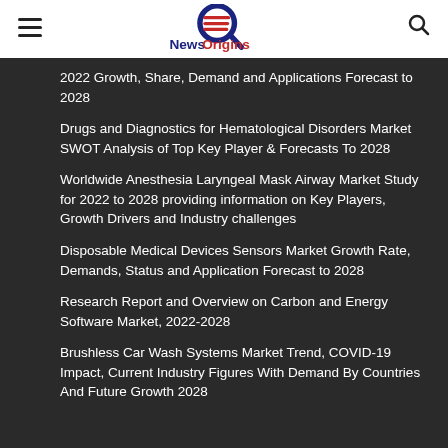News Origins
2022 Growth, Share, Demand and Applications Forecast to 2028
Drugs and Diagnostics for Hematological Disorders Market SWOT Analysis of Top Key Player & Forecasts To 2028
Worldwide Anesthesia Laryngeal Mask Airway Market Study for 2022 to 2028 providing information on Key Players, Growth Drivers and Industry challenges
Disposable Medical Devices Sensors Market Growth Rate, Demands, Status and Application Forecast to 2028
Research Report and Overview on Carbon and Energy Software Market, 2022-2028
Brushless Car Wash Systems Market Trend, COVID-19 Impact, Current Industry Figures With Demand By Countries And Future Growth 2028